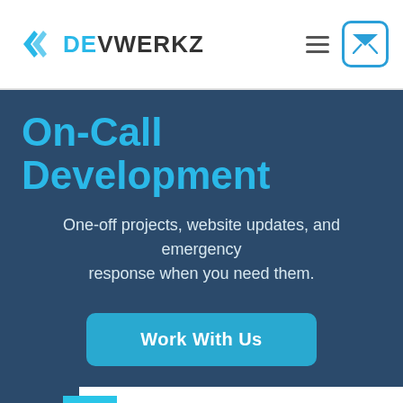[Figure (logo): Devwerkz logo with cyan angular arrow icon and bold text DEVWERKZ in dark grey]
[Figure (infographic): Hamburger menu icon (three horizontal lines) and envelope/mail button with cyan border]
On-Call Development
One-off projects, website updates, and emergency response when you need them.
Work With Us